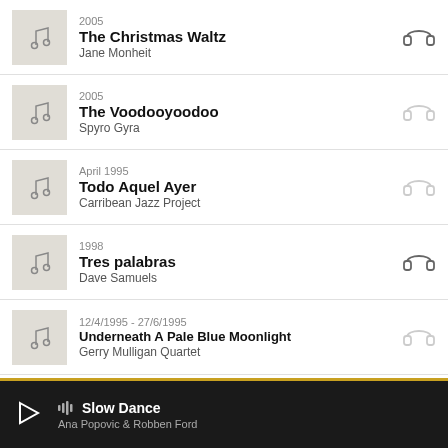2005 | The Christmas Waltz | Jane Monheit
2005 | The Voodooyoodoo | Spyro Gyra
April 1995 | Todo Aquel Ayer | Carribean Jazz Project
1998 | Tres palabras | Dave Samuels
12/4/1995 - 27/6/1995 | Underneath A Pale Blue Moonlight | Gerry Mulligan Quartet
Now playing: Slow Dance — Ana Popovic & Robben Ford